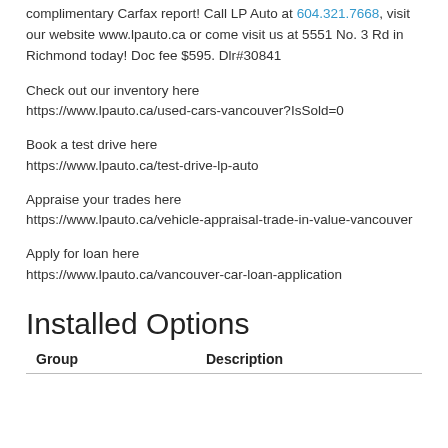complimentary Carfax report! Call LP Auto at 604.321.7668, visit our website www.lpauto.ca or come visit us at 5551 No. 3 Rd in Richmond today! Doc fee $595. Dlr#30841
Check out our inventory here
https://www.lpauto.ca/used-cars-vancouver?IsSold=0
Book a test drive here
https://www.lpauto.ca/test-drive-lp-auto
Appraise your trades here
https://www.lpauto.ca/vehicle-appraisal-trade-in-value-vancouver
Apply for loan here
https://www.lpauto.ca/vancouver-car-loan-application
Installed Options
| Group | Description |
| --- | --- |